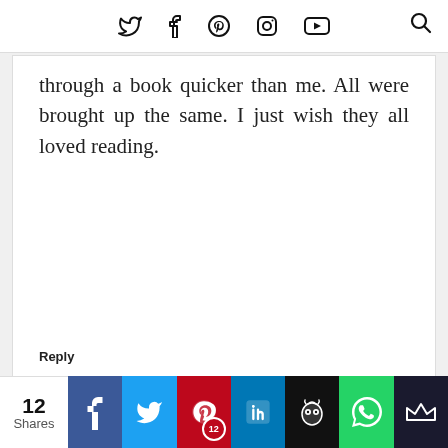Twitter Facebook Pinterest Instagram YouTube [Search]
through a book quicker than me. All were brought up the same. I just wish they all loved reading.
Reply
▾ Replies
JO LINSDELL  21 MARCH 2019 AT 09:55
You may find they get into reading again in a few years time, once they're a bit older. The
12 Shares